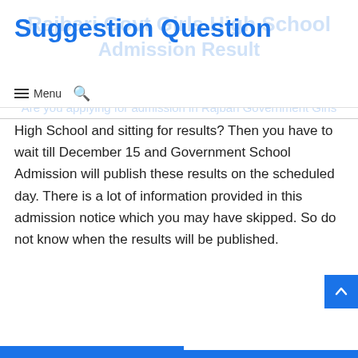Suggestion Question
Rajbari Govt Girls High School Admission Result
Menu (navigation bar with search icon)
Are you applying for admission in Rajbari Government Girls High School and sitting for results? Then you have to wait till December 15 and Government School Admission will publish these results on the scheduled day. There is a lot of information provided in this admission notice which you may have skipped. So do not know when the results will be published.